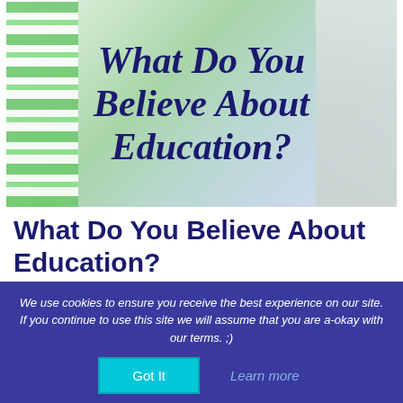[Figure (photo): Hero image showing people holding a sign with text 'What Do You Believe About Education?' - person in green striped shirt on left, person in white/grey on right, light blue-green background]
What Do You Believe About Education?
HOMESCHOOL, PODCAST BLOG VIDEO
What do you believe about education? Examine how what you believe about education impacts how you
We use cookies to ensure you receive the best experience on our site. If you continue to use this site we will assume that you are a-okay with our terms. ;)